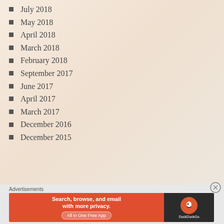July 2018
May 2018
April 2018
March 2018
February 2018
September 2017
June 2017
April 2017
March 2017
December 2016
December 2015
Advertisements
[Figure (other): DuckDuckGo advertisement banner: Search, browse, and email with more privacy. All in One Free App]